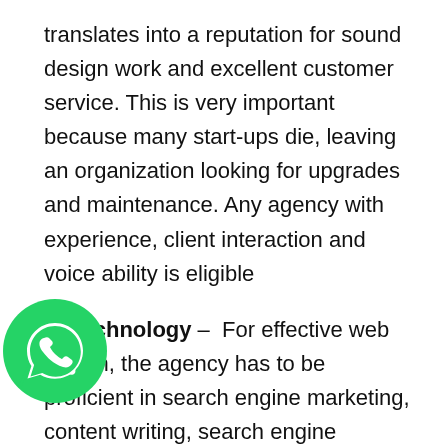translates into a reputation for sound design work and excellent customer service. This is very important because many start-ups die, leaving an organization looking for upgrades and maintenance. Any agency with experience, client interaction and voice ability is eligible
3) Technology – For effective web design, the agency has to be proficient in search engine marketing, content writing, search engine optimization, social media marketing, etc. The services provided have to match the requirements of the company seeking the services. In addition, it is necessary to have competence in areas defined by quality
[Figure (illustration): WhatsApp logo icon — green circle with white speech bubble and phone handset inside]